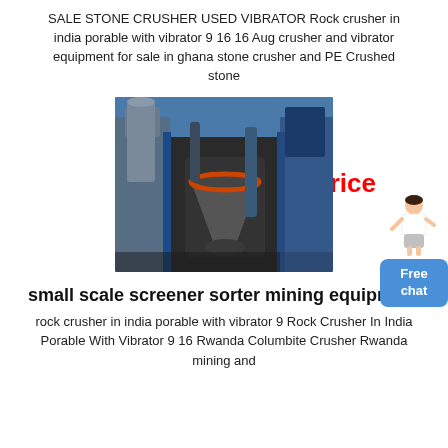SALE STONE CRUSHER USED VIBRATOR Rock crusher in india porable with vibrator 9 16 16 Aug crusher and vibrator equipment for sale in ghana stone crusher and PE Crushed stone
Get Price
[Figure (photo): Industrial stone crusher machinery equipment with pipes and metal structures against blue sky]
small scale screener sorter mining equipment
rock crusher in india porable with vibrator 9 Rock Crusher In India Porable With Vibrator 9 16 Rwanda Columbite Crusher Rwanda mining and